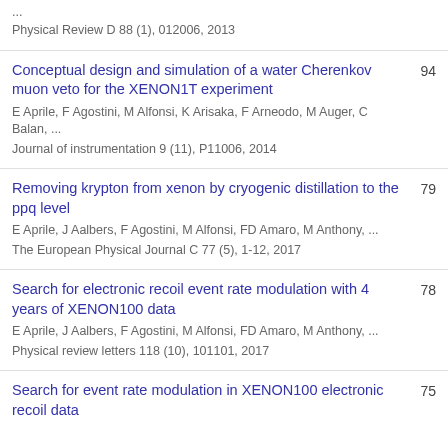...
Physical Review D 88 (1), 012006, 2013
Conceptual design and simulation of a water Cherenkov muon veto for the XENON1T experiment
E Aprile, F Agostini, M Alfonsi, K Arisaka, F Arneodo, M Auger, C Balan, ...
Journal of instrumentation 9 (11), P11006, 2014
94
Removing krypton from xenon by cryogenic distillation to the ppq level
E Aprile, J Aalbers, F Agostini, M Alfonsi, FD Amaro, M Anthony, ...
The European Physical Journal C 77 (5), 1-12, 2017
79
Search for electronic recoil event rate modulation with 4 years of XENON100 data
E Aprile, J Aalbers, F Agostini, M Alfonsi, FD Amaro, M Anthony, ...
Physical review letters 118 (10), 101101, 2017
78
Search for event rate modulation in XENON100 electronic recoil data
75